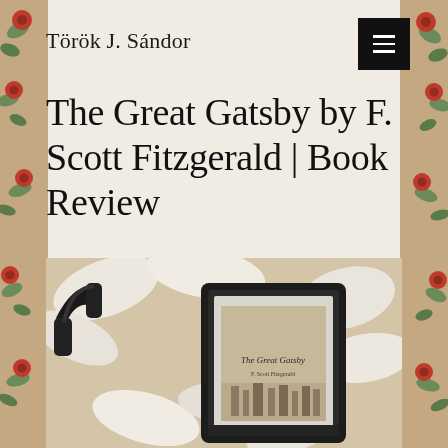Török J. Sándor
The Great Gatsby by F. Scott Fitzgerald | Book Review
[Figure (photo): A Kindle e-reader displaying 'The Great Gatsby' cover, placed on a surface alongside black headphones, surrounded by white flower petals.]